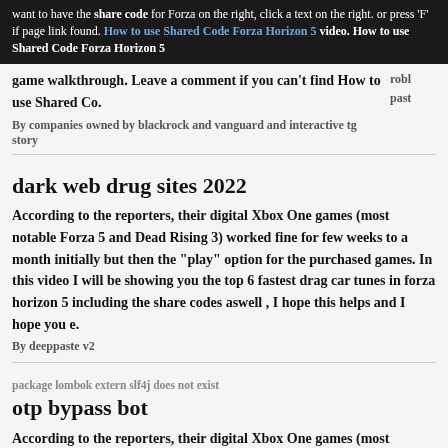want to have the share code for Forza on the right, click a text on the right. or press 'F' if page link found. How to use Shared Code Forza Horizon 5 video. How to use Shared Code Forza Horizon 5 game walkthrough. Leave a comment if you can't find How to use Shared Co.
By companies owned by blackrock and vanguard and interactive tg story
dark web drug sites 2022
According to the reporters, their digital Xbox One games (most notable Forza 5 and Dead Rising 3) worked fine for few weeks to a month initially but then the "play" option for the purchased games. In this video I will be showing you the top 6 fastest drag car tunes in forza horizon 5 including the share codes aswell , I hope this helps and I hope you e.
By deeppaste v2
package lombok extern slf4j does not exist
otp bypass bot
According to the reporters, their digital Xbox One games (most notable Forza 5 and Dead Rising 3) worked fine for few weeks to a